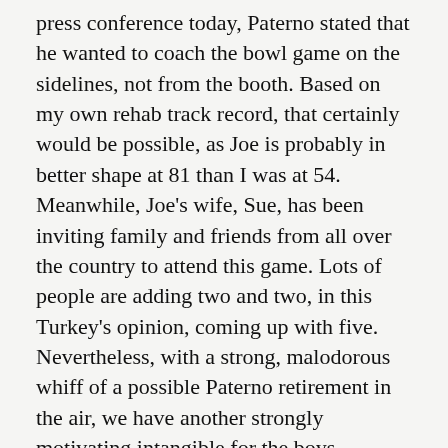press conference today, Paterno stated that he wanted to coach the bowl game on the sidelines, not from the booth. Based on my own rehab track record, that certainly would be possible, as Joe is probably in better shape at 81 than I was at 54. Meanwhile, Joe's wife, Sue, has been inviting family and friends from all over the country to attend this game. Lots of people are adding two and two, in this Turkey's opinion, coming up with five. Nevertheless, with a strong, malodorous whiff of a possible Paterno retirement in the air, we have another strongly motivating intangible for the boys.
And so, boys and girls, that brings us to the feature you've been waiting for all season, the final Official Turkey Poop Prediction of the 2008 Penn State season! Last week, thanks to the offense forgetting